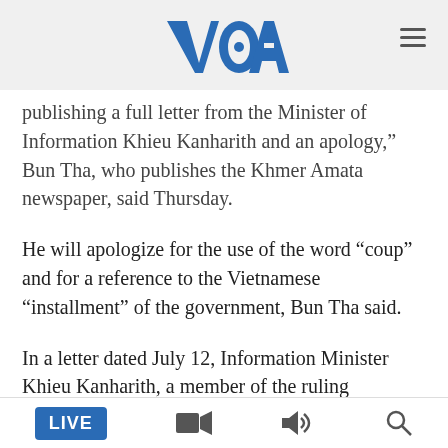VOA
publishing a full letter from the Minister of Information Khieu Kanharith and an apology,” Bun Tha, who publishes the Khmer Amata newspaper, said Thursday.
He will apologize for the use of the word “coup” and for a reference to the Vietnamese “installment” of the government, Bun Tha said.
In a letter dated July 12, Information Minister Khieu Kanharith, a member of the ruling Cambodian People’s Party, requested the court to take legal action for disinformation, claiming the article could confuse the public and was published to destroy the efforts of
LIVE